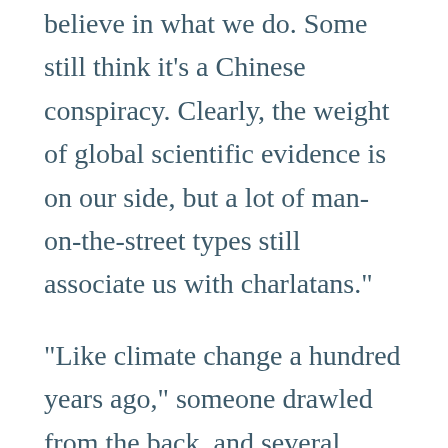believe in what we do. Some still think it's a Chinese conspiracy. Clearly, the weight of global scientific evidence is on our side, but a lot of man-on-the-street types still associate us with charlatans."
"Like climate change a hundred years ago," someone drawled from the back, and several students laughed, even though it didn't strike Christine as either accurate or funny.
The professor nodded, and the weight of his attention finally lifted off her. She breathed in.